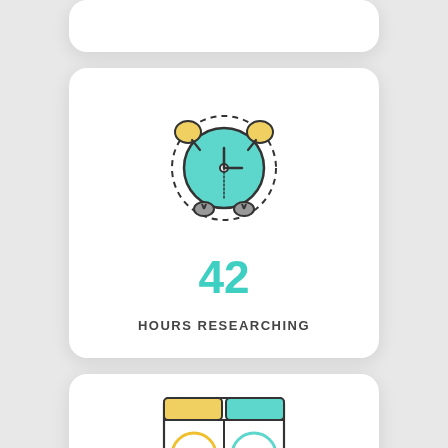[Figure (illustration): Partial white rounded card at the top of page, mostly cut off]
[Figure (infographic): White rounded card with a teal alarm clock icon in the center. Below the icon is the number 42 in teal and bold, and below that the text HOURS RESEARCHING in small grey caps.]
42
HOURS RESEARCHING
[Figure (illustration): Partial white rounded card at the bottom, showing a flat icon of an A/B testing table with folder tabs in yellow and teal, and two cells labeled A and B with circles.]